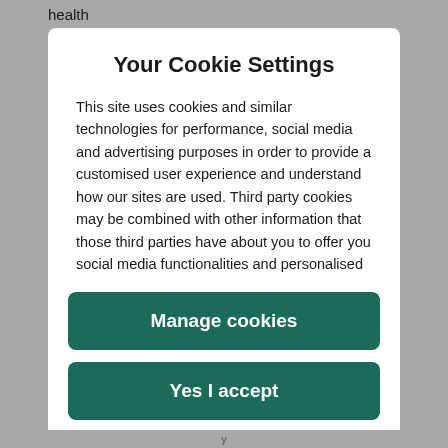health
Your Cookie Settings
This site uses cookies and similar technologies for performance, social media and advertising purposes in order to provide a customised user experience and understand how our sites are used. Third party cookies may be combined with other information that those third parties have about you to offer you social media functionalities and personalised ads. More information about how we use cookies is available at Cookie and Privacy Policy. Modify your settings now or visit the 'Cookie Settings' at the bottom of the website at any time.
Manage cookies
Yes I accept